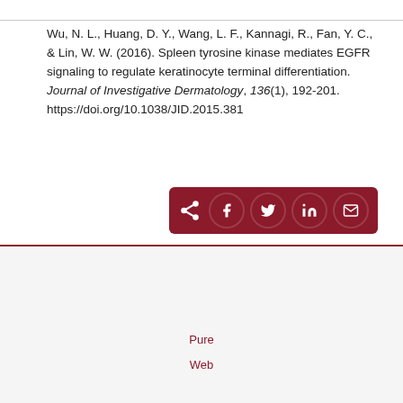Wu, N. L., Huang, D. Y., Wang, L. F., Kannagi, R., Fan, Y. C., & Lin, W. W. (2016). Spleen tyrosine kinase mediates EGFR signaling to regulate keratinocyte terminal differentiation. Journal of Investigative Dermatology, 136(1), 192-201. https://doi.org/10.1038/JID.2015.381
[Figure (other): Social sharing buttons bar with icons for share, Facebook, Twitter, LinkedIn, and email on dark red background]
Pure   Scopus   Elsevier Fingerprint Engine™ © 2022 Elsevier B.V.
Cookie   Cookie
Pure
Web